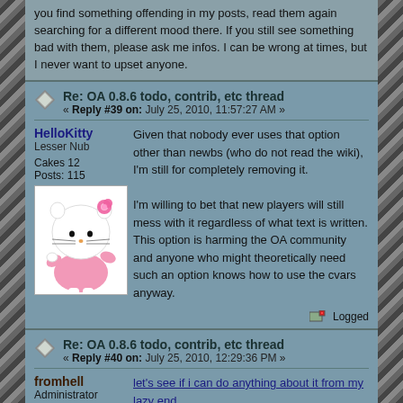you find something offending in my posts, read them again searching for a different mood there. If you still see something bad with them, please ask me infos. I can be wrong at times, but I never want to upset anyone.
HelloKitty
Lesser Nub
Re: OA 0.8.6 todo, contrib, etc thread
« Reply #39 on: July 25, 2010, 11:57:27 AM »
Cakes 12
Posts: 115
[Figure (illustration): Hello Kitty avatar image - cartoon white cat with pink bow and dress]
Given that nobody ever uses that option other than newbs (who do not read the wiki), I'm still for completely removing it.

I'm willing to bet that new players will still mess with it regardless of what text is written. This option is harming the OA community and anyone who might theoretically need such an option knows how to use the cvars anyway.
fromhell
Administrator
GET A LIFE!
Re: OA 0.8.6 todo, contrib, etc thread
« Reply #40 on: July 25, 2010, 12:29:36 PM »
Cakes 35
Posts: 14520
let's see if i can do anything about it from my lazy end